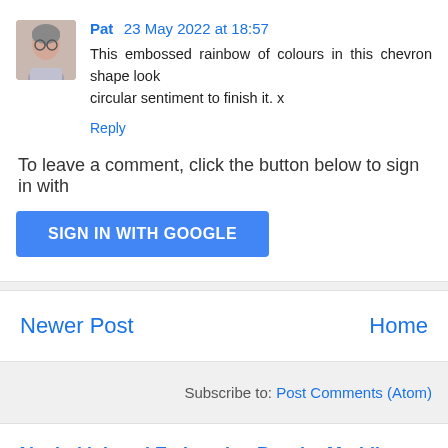[Figure (photo): Avatar photo of commenter Pat, a woman with grey hair and glasses]
Pat 23 May 2022 at 18:57
This embossed rainbow of colours in this chevron shape look... circular sentiment to finish it. x
Reply
To leave a comment, click the button below to sign in with
SIGN IN WITH GOOGLE
Newer Post
Home
Subscribe to: Post Comments (Atom)
Alcohol ink and Embossing Powder Marbling.
Hello lovely crafty friends and lovers of HEAT EMBOSSING!! It's time fo...